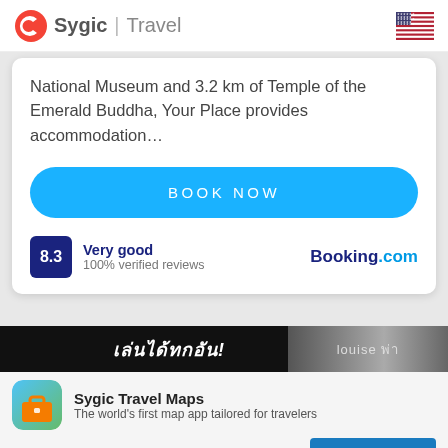Sygic | Travel
National Museum and 3.2 km of Temple of the Emerald Buddha, Your Place provides accommodation…
BOOK NOW
8.3 Very good 100% verified reviews Booking.com
[Figure (screenshot): Thai language advertisement banner strip]
[Figure (logo): Sygic Travel Maps app icon - orange briefcase on green/blue gradient background]
Sygic Travel Maps
The world's first map app tailored for travelers
Not now
USE THE APP